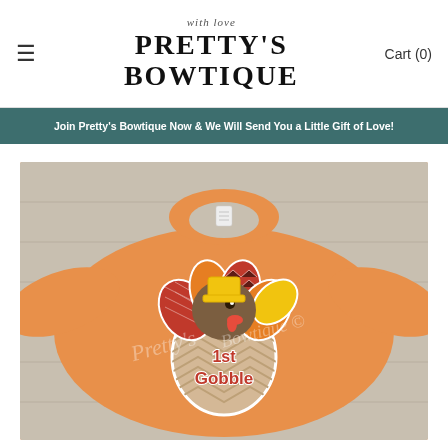≡  PRETTY'S BOWTIQUE  Cart (0)
Join Pretty's Bowtique Now & We Will Send You a Little Gift of Love!
[Figure (photo): Orange long-sleeve baby onesie with a turkey applique design showing a turkey chick hatching from an egg with text '1st Gobble'. Watermarked with Pretty's Bowtique logo.]